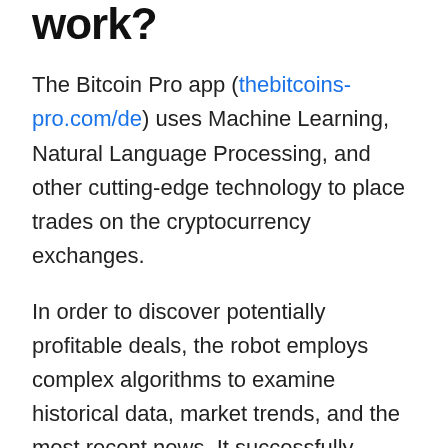work?
The Bitcoin Pro app (thebitcoins-pro.com/de) uses Machine Learning, Natural Language Processing, and other cutting-edge technology to place trades on the cryptocurrency exchanges.
In order to discover potentially profitable deals, the robot employs complex algorithms to examine historical data, market trends, and the most recent news. It successfully completes these transactions without the need for human input.
The Bitcoin Pro app has made connections with reputable robot brokers in order to give its services to traders. This trading app is linked to